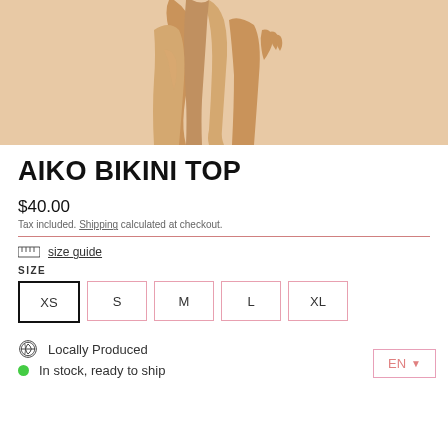[Figure (photo): Product photo showing lower torso and legs of a model wearing a bikini, cropped view on white background]
AIKO BIKINI TOP
$40.00
Tax included. Shipping calculated at checkout.
size guide
SIZE
XS
S
M
L
XL
Locally Produced
In stock, ready to ship
EN